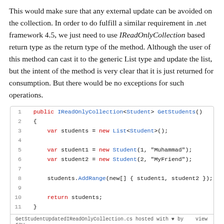This would make sure that any external update can be avoided on the collection. In order to do fulfill a similar requirement in .net framework 4.5, we just need to use IReadOnlyCollection based return type as the return type of the method. Although the user of this method can cast it to the generic List type and update the list, but the intent of the method is very clear that it is just returned for consumption. But there would be no exceptions for such operations.
[Figure (screenshot): Code block showing a C# method public IReadOnlyCollection<Student> GetStudents() with 11 lines of code, hosted on GitHub Gist]